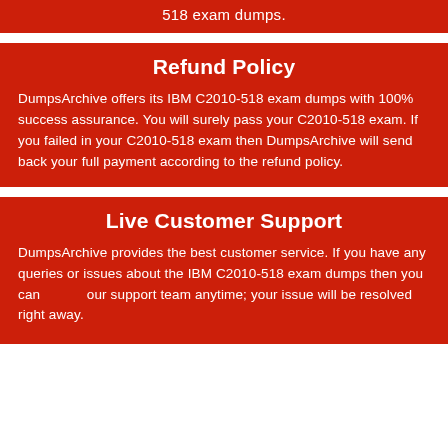518 exam dumps.
Refund Policy
DumpsArchive offers its IBM C2010-518 exam dumps with 100% success assurance. You will surely pass your C2010-518 exam. If you failed in your C2010-518 exam then DumpsArchive will send back your full payment according to the refund policy.
Live Customer Support
DumpsArchive provides the best customer service. If you have any queries or issues about the IBM C2010-518 exam dumps then you can our support team anytime; your issue will be resolved right away.